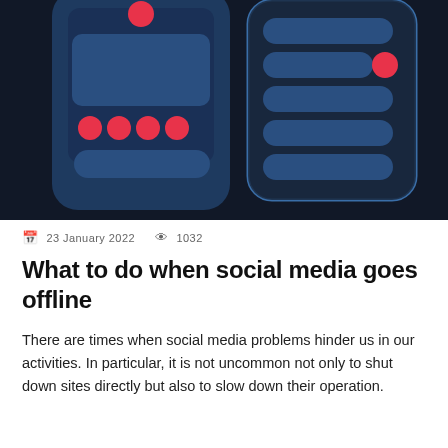[Figure (illustration): Dark navy blue background illustration showing two stylized smartphone UI mockups with rounded rectangles representing app interfaces. Left phone has a red notification dot at top, four red circular dots in a row, and blue rounded button shapes. Right phone shows a list-style UI with rounded blue pill shapes and a red dot on one item.]
📅 23 January 2022 👁 1032
What to do when social media goes offline
There are times when social media problems hinder us in our activities. In particular, it is not uncommon not only to shut down sites directly but also to slow down their operation.